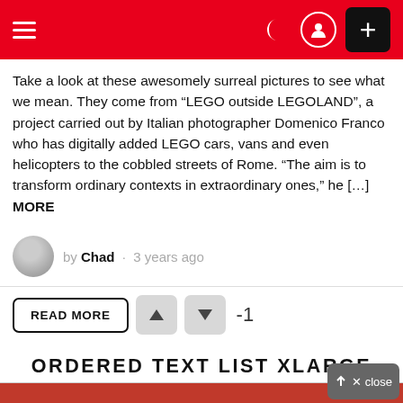Navigation header with hamburger menu, moon/user icons, and plus button
Take a look at these awesomely surreal pictures to see what we mean. They come from “LEGO outside LEGOLAND”, a project carried out by Italian photographer Domenico Franco who has digitally added LEGO cars, vans and even helicopters to the cobbled streets of Rome. “The aim is to transform ordinary contexts in extraordinary ones,” he [...] MORE
by Chad · 3 years ago
READ MORE -1
ORDERED TEXT LIST XLARGE